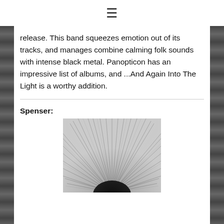☰
release. This band squeezes emotion out of its tracks, and manages combine calming folk sounds with intense black metal. Panopticon has an impressive list of albums, and ...And Again Into The Light is a worthy addition.
Spenser:
[Figure (photo): Black and white close-up photo of a sunflower or similar flower showing radiating petals/seeds from above, with a dark circular center at the bottom.]